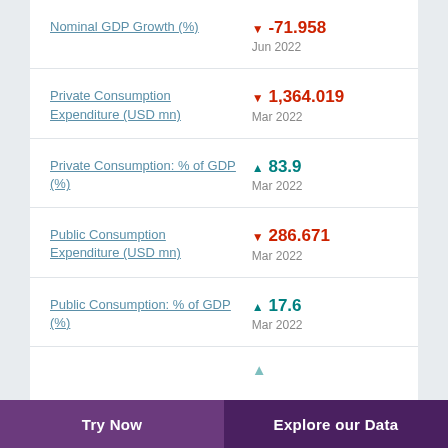Nominal GDP Growth (%) ▼ -71.958 Jun 2022
Private Consumption Expenditure (USD mn) ▼ 1,364.019 Mar 2022
Private Consumption: % of GDP (%) ▲ 83.9 Mar 2022
Public Consumption Expenditure (USD mn) ▼ 286.671 Mar 2022
Public Consumption: % of GDP (%) ▲ 17.6 Mar 2022
Try Now   Explore our Data